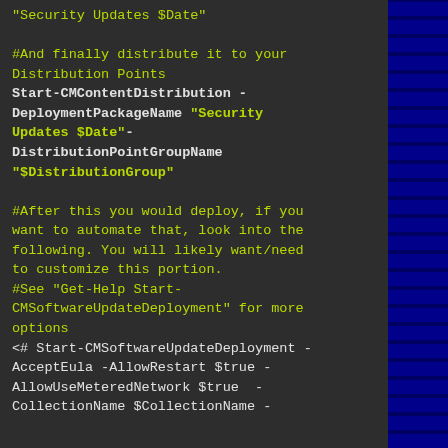"Security Updates $Date"

#And finally distribute it to your Distribution Points
Start-CMContentDistribution -DeploymentPackageName "Security Updates $Date" -DistributionPointGroupName "$DistributionGroup"

#After this you would deploy, if you want to automate that, look into the following. You will likely want/need to customize this portion.
#See "Get-Help Start-CMSoftwareUpdateDeployment" for more options
<# Start-CMSoftwareUpdateDeployment -AcceptEula -AllowRestart $true -AllowUseMeteredNetwork $true -CollectionName $CollectionName -